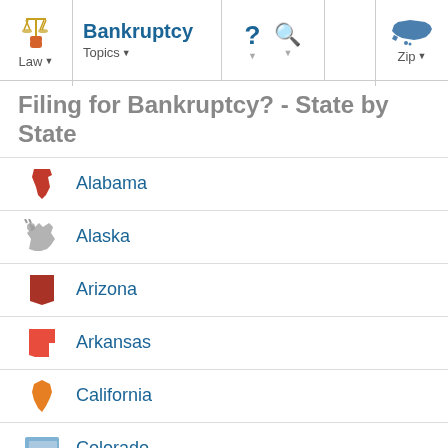Law | Bankruptcy Topics | ? | Search | Zip
Filing for Bankruptcy? - State by State
Alabama
Alaska
Arizona
Arkansas
California
Colorado
Connecticut
Delaware